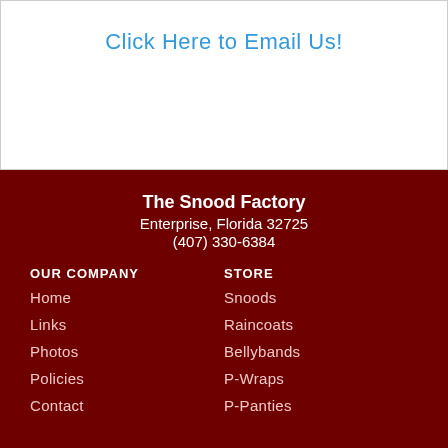Click Here to Email Us!
The Snood Factory
Enterprise, Florida 32725
(407) 330-6384
OUR COMPANY
STORE
Home
Snoods
Links
Raincoats
Photos
Bellybands
Policies
P-Wraps
Contact
P-Panties